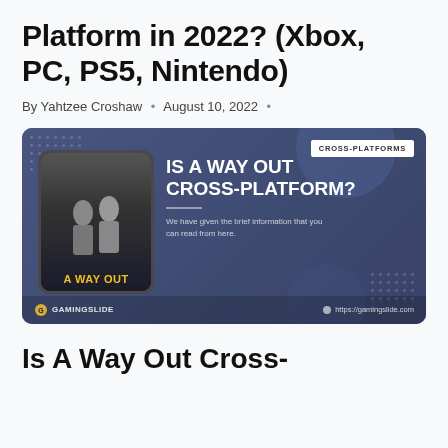Platform in 2022? (Xbox, PC, PS5, Nintendo)
By Yahtzee Croshaw • August 10, 2022 •
[Figure (infographic): Promotional banner for 'Is A Way Out Cross-Platform?' featuring game cover art, CROSS-PLATFORMS badge, and GamingSlide branding with URL https://gamingslide.com]
Is A Way Out Cross-